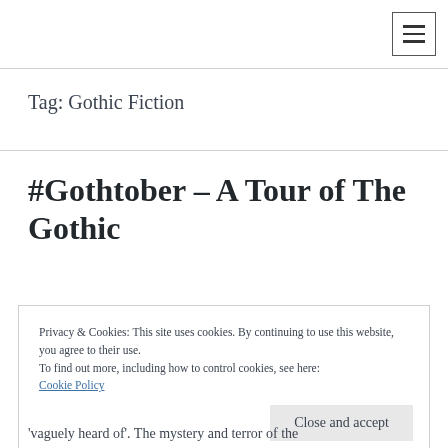≡
Tag: Gothic Fiction
#Gothtober – A Tour of The Gothic
Privacy & Cookies: This site uses cookies. By continuing to use this website, you agree to their use.
To find out more, including how to control cookies, see here: Cookie Policy
'vaguely heard of'. The mystery and terror of the